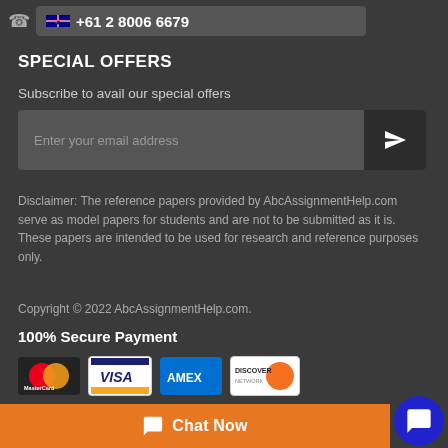+61 2 8006 6679
SPECIAL OFFERS
Subscribe to avail our special offers
Enter your email address
Disclaimer: The reference papers provided by AbcAssignmentHelp.com serve as model papers for students and are not to be submitted as it is. These papers are intended to be used for research and reference purposes only.
Copyright © 2022 AbcAssignmentHelp.com.
100% Secure Payment
[Figure (logo): Payment logos: MasterCard, VISA, AMEX, Discover]
[Figure (logo): DMCA Protected badge]
Chat Now